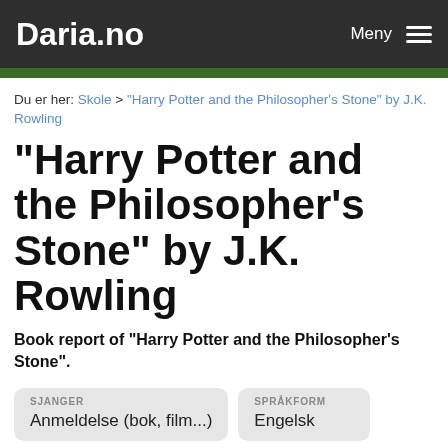Daria.no  Meny
Du er her: Skole > "Harry Potter and the Philosopher's Stone" by J.K. Rowling
"Harry Potter and the Philosopher's Stone" by J.K. Rowling
Book report of "Harry Potter and the Philosopher's Stone".
SJANGER: Anmeldelse (bok, film...)  SPRÅKFORM: Engelsk
LASTET OPP: 20.02.2008  TEMA: Harry Potter